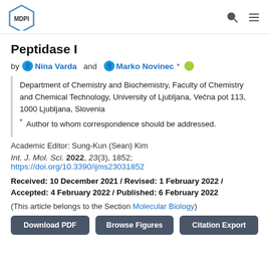MDPI [logo] [search icon] [menu icon]
Peptidase I
by Nina Varda and Marko Novinec *
Department of Chemistry and Biochemistry, Faculty of Chemistry and Chemical Technology, University of Ljubljana, Večna pot 113, 1000 Ljubljana, Slovenia
* Author to whom correspondence should be addressed.
Academic Editor: Sung-Kun (Sean) Kim
Int. J. Mol. Sci. 2022, 23(3), 1852;
https://doi.org/10.3390/ijms23031852
Received: 10 December 2021 / Revised: 1 February 2022 / Accepted: 4 February 2022 / Published: 6 February 2022
(This article belongs to the Section Molecular Biology)
Download PDF   Browse Figures   Citation Export